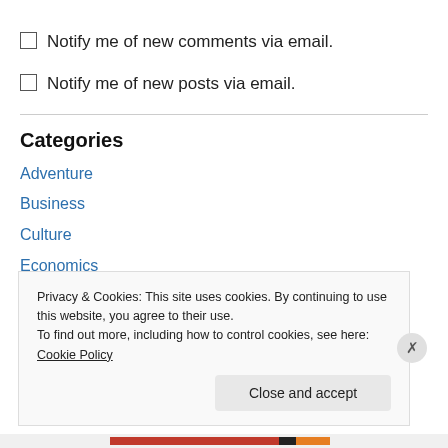Notify me of new comments via email.
Notify me of new posts via email.
Categories
Adventure
Business
Culture
Economics
Environment
Everything Else
Privacy & Cookies: This site uses cookies. By continuing to use this website, you agree to their use.
To find out more, including how to control cookies, see here: Cookie Policy
Close and accept